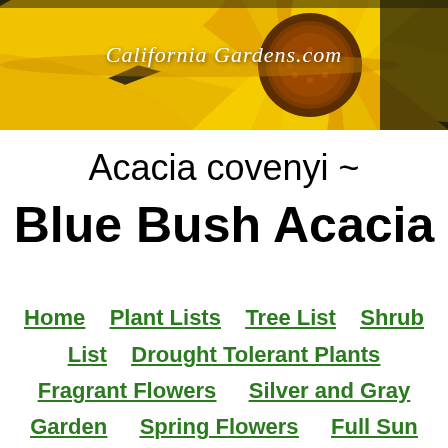[Figure (photo): Close-up photo of a yellow sunflower with orange center, used as a decorative page header banner]
California Gardens.com
Acacia covenyi ~ Blue Bush Acacia
Home
Plant Lists
Tree List
Shrub List
Drought Tolerant Plants
Fragrant Flowers
Silver and Gray Garden
Spring Flowers
Full Sun